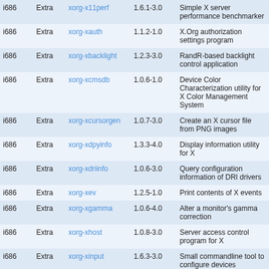| i686 | Extra | xorg-x11perf | 1.6.1-3.0 | Simple X server performance benchmarker |
| i686 | Extra | xorg-xauth | 1.1.2-1.0 | X.Org authorization settings program |
| i686 | Extra | xorg-xbacklight | 1.2.3-3.0 | RandR-based backlight control application |
| i686 | Extra | xorg-xcmsdb | 1.0.6-1.0 | Device Color Characterization utility for X Color Management System |
| i686 | Extra | xorg-xcursorgen | 1.0.7-3.0 | Create an X cursor file from PNG images |
| i686 | Extra | xorg-xdpyinfo | 1.3.3-4.0 | Display information utility for X |
| i686 | Extra | xorg-xdriinfo | 1.0.6-3.0 | Query configuration information of DRI drivers |
| i686 | Extra | xorg-xev | 1.2.5-1.0 | Print contents of X events |
| i686 | Extra | xorg-xgamma | 1.0.6-4.0 | Alter a monitor's gamma correction |
| i686 | Extra | xorg-xhost | 1.0.8-3.0 | Server access control program for X |
| i686 | Extra | xorg-xinput | 1.6.3-3.0 | Small commandline tool to configure devices |
| i686 | Extra | xorg-xkbcomp | 1.4.5-1.0 | X Keyboard description compiler |
| i686 | Extra | xorg-xkbevd | 1.1.4-4.0 | XKB event daemon |